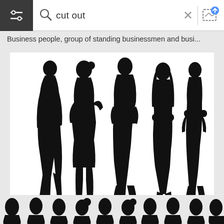[Figure (screenshot): Search bar UI with hamburger menu icon on dark background, magnifying glass icon, search query text 'cut out', X close button, divider, and upload/search by image icon]
Business people, group of standing businessmen and busi...
[Figure (illustration): Black silhouettes of five business people standing: two men and one woman on left/center, one woman and one man on right, on white background]
Business men and women, group of people at work. Isolat...
[Figure (illustration): Partial view of row of head/shoulder silhouettes of people in black at bottom of page]